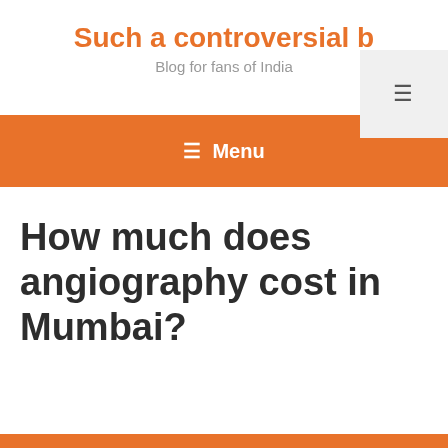Such a controversial B
Blog for fans of India
≡ Menu
How much does angiography cost in Mumbai?